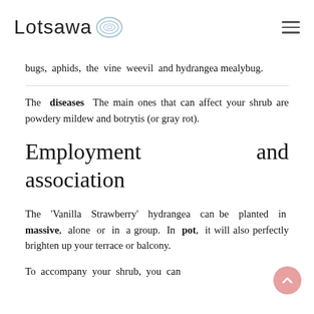Lotsawa
bugs, aphids, the vine weevil and hydrangea mealybug.
The diseases The main ones that can affect your shrub are powdery mildew and botrytis (or gray rot).
Employment and association
The 'Vanilla Strawberry' hydrangea can be planted in massive, alone or in a group. In pot, it will also perfectly brighten up your terrace or balcony.
To accompany your shrub, you can